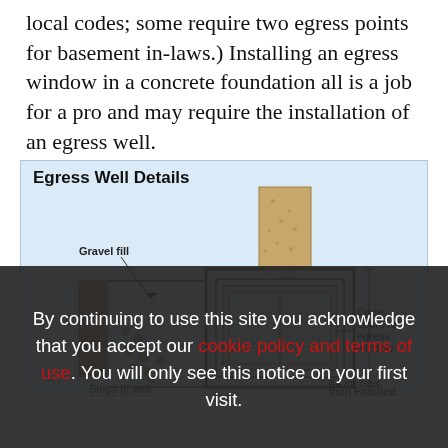local codes; some require two egress points for basement in-laws.) Installing an egress window in a concrete foundation all is a job for a pro and may require the installation of an egress well.
[Figure (engineering-diagram): Egress Well Details: an isometric/cutaway construction diagram showing a basement egress well with gravel fill labeled on the left, a code-approved egress window labeled on the right, steps (if well) labeled at the bottom, and a dimension note '44 in. max. from Finished' partially visible at bottom right. The diagram shows the window frame assembly set into a foundation wall with gravel fill in the well area.]
By continuing to use this site you acknowledge that you accept our cookie policy and terms of use. You will only see this notice on your first visit.